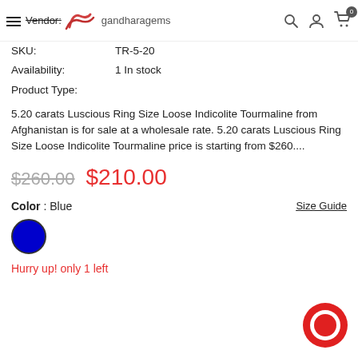Vendor: gandharagems
SKU: TR-5-20
Availability: 1 In stock
Product Type:
5.20 carats Luscious Ring Size Loose Indicolite Tourmaline from Afghanistan is for sale at a wholesale rate. 5.20 carats Luscious Ring Size Loose Indicolite Tourmaline price is starting from $260....
$260.00  $210.00
Color : Blue
Size Guide
[Figure (other): Blue color swatch circle]
Hurry up! only 1 left
[Figure (other): Red chat bubble icon in bottom right corner]